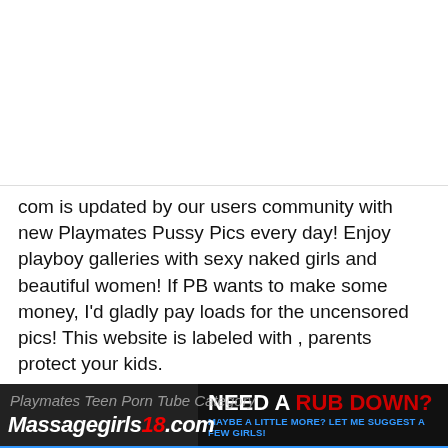[Figure (other): White blank space at top of page]
com is updated by our users community with new Playmates Pussy Pics every day! Enjoy playboy galleries with sexy naked girls and beautiful women! If PB wants to make some money, I'd gladly pay loads for the uncensored pics! This website is labeled with , parents protect your kids.
[Figure (other): Advertisement banner: MassageGirls18.com on left with overlay text 'Playmates Teen Porn Tube Category', and on right 'NEED A RUB DOWN? MAYBE A LITTLE MORE? LET ME SUGGEST A FEW GIRLS!']
[Figure (other): Video thumbnail strip with three video previews showing dark-haired women, each with a play button circle overlay and play labels at bottom]